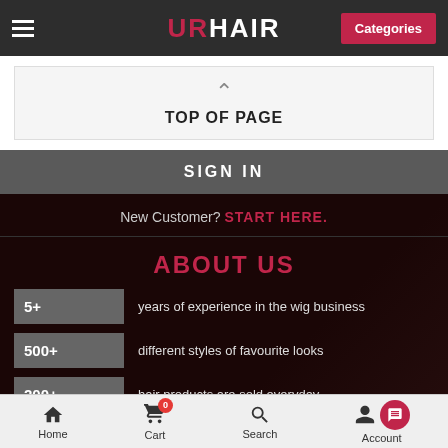URHAIR — Categories
TOP OF PAGE
SIGN IN
New Customer? START HERE.
ABOUT US
5+ years of experience in the wig business
500+ different styles of favourite looks
200+ hair products are sold everyday
20000+ Customers Buy Wigs From uk
Home  Cart 0  Search  Account